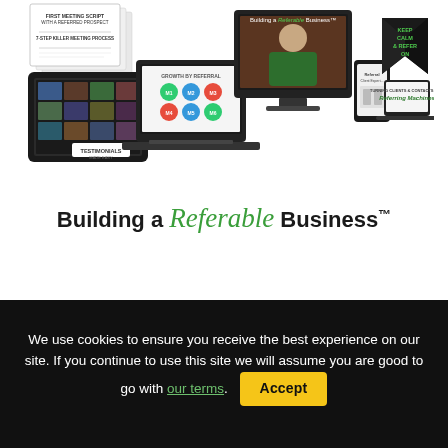[Figure (illustration): Product collage showing multiple devices (tablet, laptop, desktop monitor, phone, book/tent card) with 'Building a Referable Business' course materials and branding]
Building a Referable Business™
OK, THIS IS A NO-BRAINER
We use cookies to ensure you receive the best experience on our site. If you continue to use this site we will assume you are good to go with our terms. Accept